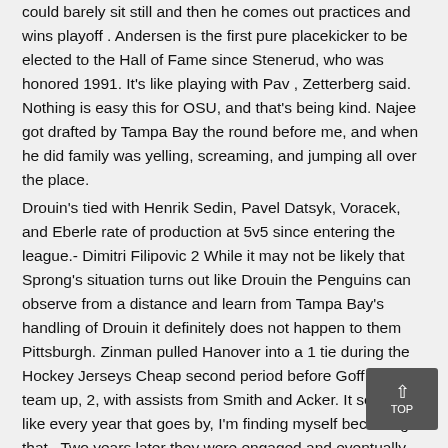could barely sit still and then he comes out practices and wins playoff . Andersen is the first pure placekicker to be elected to the Hall of Fame since Stenerud, who was honored 1991. It's like playing with Pav , Zetterberg said. Nothing is easy this for OSU, and that's being kind. Najee got drafted by Tampa Bay the round before me, and when he did family was yelling, screaming, and jumping all over the place.
Drouin's tied with Henrik Sedin, Pavel Datsyk, Voracek, and Eberle rate of production at 5v5 since entering the league.- Dimitri Filipovic 2 While it may not be likely that Sprong's situation turns out like Drouin the Penguins can observe from a distance and learn from Tampa Bay's handling of Drouin it definitely does not happen to them Pittsburgh. Zinman pulled Hanover into a 1 tie during the Hockey Jerseys Cheap second period before Goff put his team up, 2, with assists from Smith and Acker. It seems like every year that goes by, I'm finding myself becoming that . Two years later they were engaged and eventually married. Green and his wife Diane have four children and eight grandchildren. Quin just sort of shrugged, and told me after the game that the move looked good … I just needed to hit the